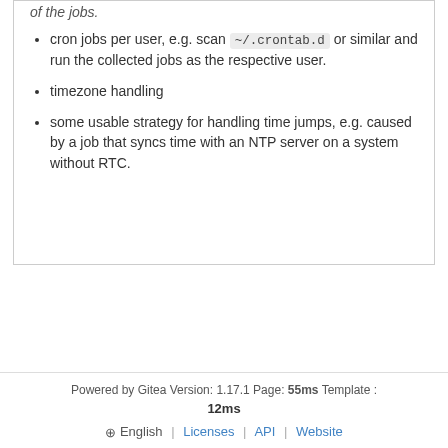cron jobs per user, e.g. scan ~/.crontab.d or similar and run the collected jobs as the respective user.
timezone handling
some usable strategy for handling time jumps, e.g. caused by a job that syncs time with an NTP server on a system without RTC.
Powered by Gitea Version: 1.17.1 Page: 55ms Template : 12ms English | Licenses | API | Website